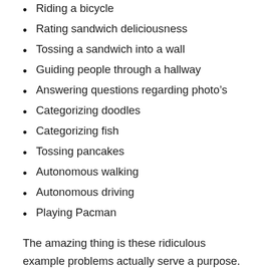Riding a bicycle
Rating sandwich deliciousness
Tossing a sandwich into a wall
Guiding people through a hallway
Answering questions regarding photo’s
Categorizing doodles
Categorizing fish
Tossing pancakes
Autonomous walking
Autonomous driving
Playing Pacman
The amazing thing is these ridiculous example problems actually serve a purpose. They are used to explain different algorithms and their applications, strengths, and limitations! Janelle covers a wide variety of algorithms in such a way that anyone new